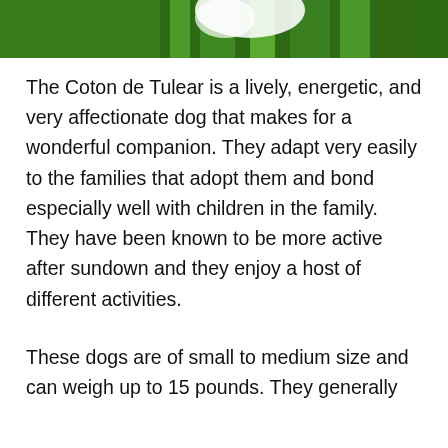[Figure (photo): Partial photo of a white dog on green grass, cropped at the top of the page]
The Coton de Tulear is a lively, energetic, and very affectionate dog that makes for a wonderful companion. They adapt very easily to the families that adopt them and bond especially well with children in the family. They have been known to be more active after sundown and they enjoy a host of different activities.
These dogs are of small to medium size and can weigh up to 15 pounds. They generally